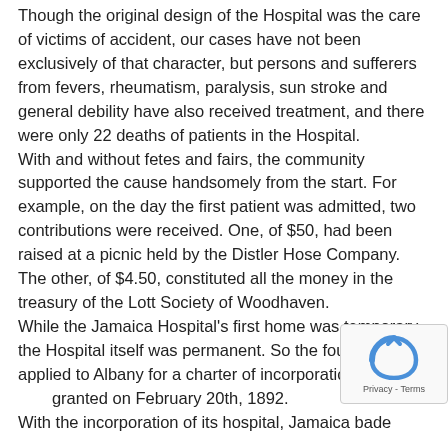Though the original design of the Hospital was the care of victims of accident, our cases have not been exclusively of that character, but persons and sufferers from fevers, rheumatism, paralysis, sun stroke and general debility have also received treatment, and there were only 22 deaths of patients in the Hospital.
With and without fetes and fairs, the community supported the cause handsomely from the start. For example, on the day the first patient was admitted, two contributions were received. One, of $50, had been raised at a picnic held by the Distler Hose Company. The other, of $4.50, constituted all the money in the treasury of the Lott Society of Woodhaven.
While the Jamaica Hospital's first home was temporary, the Hospital itself was permanent. So the founders applied to Albany for a charter of incorporation, which was granted on February 20th, 1892.
With the incorporation of its hospital, Jamaica bade